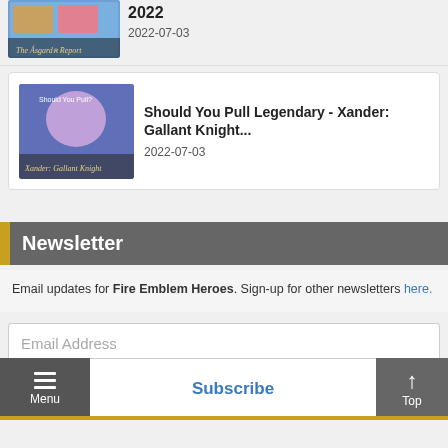[Figure (screenshot): Game card thumbnail for 'The Asgard Report' 2022]
2022
2022-07-03
[Figure (screenshot): Game card thumbnail for 'Should You Pull? Xander: Gallant Knight']
Should You Pull Legendary - Xander: Gallant Knight...
2022-07-03
Newsletter
Email updates for Fire Emblem Heroes. Sign-up for other newsletters here.
Email Address
Subscribe